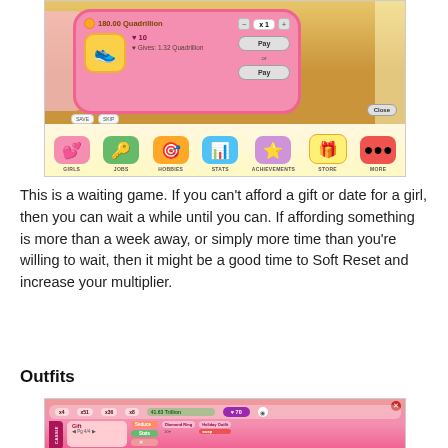[Figure (screenshot): Mobile game screenshot showing a pink purchase popup for shoes costing 180.00 Quadrillion with heart value of 10, Gives 1.32 Quadrillion, with Pay buttons and x1 quantity selector, and bottom navigation bar showing Girls, Jobs, Hobbies, Stats, Achievements, Store, More]
This is a waiting game. If you can't afford a gift or date for a girl, then you can wait a while until you can. If affording something is more than a week away, or simply more time than you're willing to wait, then it might be a good time to Soft Reset and increase your multiplier.
Outfits
[Figure (screenshot): Mobile game screenshot showing an outfits/gift screen with a character named Cassie, Diamond Ring and Holiday Outfit items shown, with Seduce, Stats, and Item buttons, and resource bar at top showing various quantities and 41.63 Trillion currency]